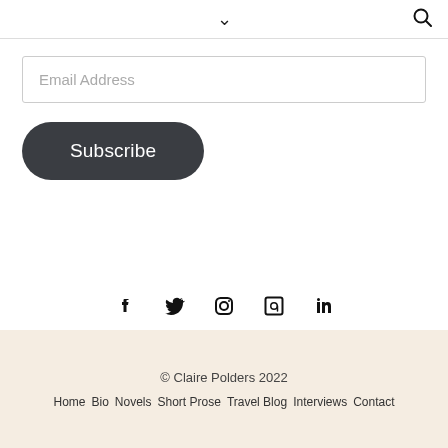chevron down / search icon
Email Address
Subscribe
[Figure (other): Social media icons: Facebook, Twitter, Instagram, Goodreads, LinkedIn]
© Claire Polders 2022
Home  Bio  Novels  Short Prose  Travel Blog  Interviews  Contact